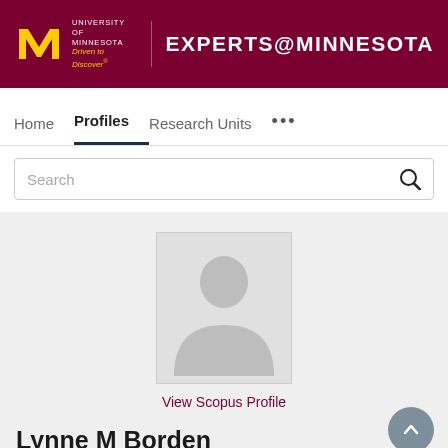UNIVERSITY OF MINNESOTA Driven to Discover® EXPERTS@MINNESOTA
Home  Profiles  Research Units  ...
Search
[Figure (photo): Placeholder silhouette avatar photo for Lynne M Borden]
View Scopus Profile
Lynne M Borden